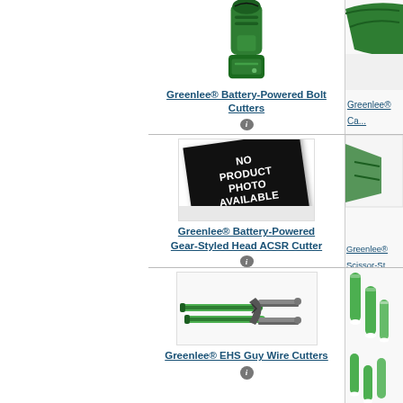[Figure (photo): Greenlee Battery-Powered Bolt Cutter tool image - green electric cutter with battery pack]
Greenlee® Battery-Powered Bolt Cutters
[Figure (photo): Partial view of Greenlee product - right column, top]
Greenlee® Ca...
[Figure (photo): No Product Photo Available placeholder image]
Greenlee® Battery-Powered Gear-Styled Head ACSR Cutter
[Figure (photo): Partial view of Greenlee product - right column, middle - Scissor-St...]
Greenlee® Scissor-St...
[Figure (photo): Greenlee EHS Guy Wire Cutters - green long-handled wire cutters]
Greenlee® EHS Guy Wire Cutters
[Figure (photo): Partial view of Greenlee product - right column, bottom - green cylindrical items]